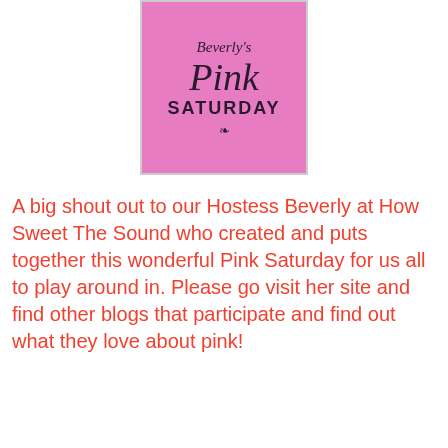[Figure (logo): Beverly's Pink Saturday logo — pink background with cursive 'Beverly's Pink' text and bold 'SATURDAY' text, with a small decorative flourish]
A big shout out to our Hostess Beverly at How Sweet The Sound who created and puts together this wonderful Pink Saturday for us all to play around in. Please go visit her site and find other blogs that participate and find out what they love about pink!